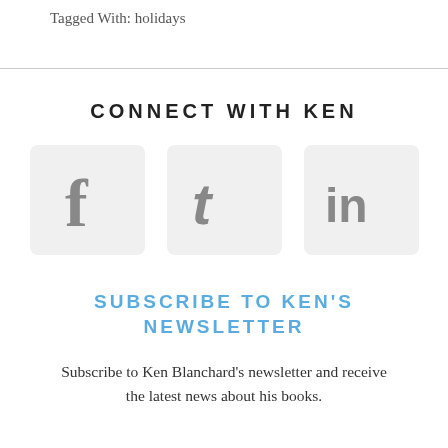Tagged With: holidays
CONNECT WITH KEN
[Figure (other): Three social media icons: Facebook (f), Twitter (t), LinkedIn (in), each in a rounded light-gray square box]
SUBSCRIBE TO KEN'S NEWSLETTER
Subscribe to Ken Blanchard's newsletter and receive the latest news about his books.